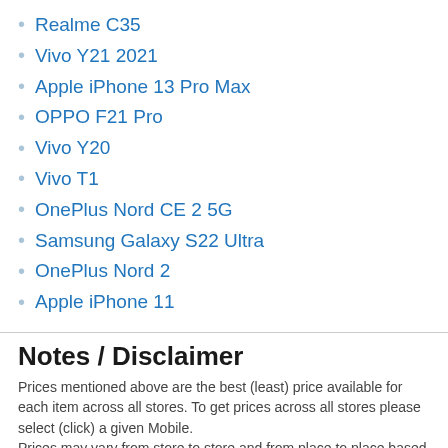Realme C35
Vivo Y21 2021
Apple iPhone 13 Pro Max
OPPO F21 Pro
Vivo Y20
Vivo T1
OnePlus Nord CE 2 5G
Samsung Galaxy S22 Ultra
OnePlus Nord 2
Apple iPhone 11
Notes / Disclaimer
Prices mentioned above are the best (least) price available for each item across all stores. To get prices across all stores please select (click) a given Mobile.
Prices may vary from store to store and from place to place based on different tax rates.